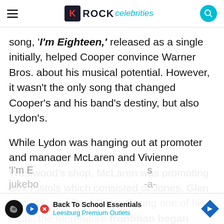ROCK celebrities
song, 'I'm Eighteen,' released as a single initially, helped Cooper convince Warner Bros. about his musical potential. However, it wasn't the only song that changed Cooper's and his band's destiny, but also Lydon's.

While Lydon was hanging out at promoter and manager McLaren and Vivienne Westwood's shop, McLaren was promoting Sex Pistols which consisted of Jones, Glen Matlock, and Paul Cook. During one of his visits, the then-future frontman began singing Cooper's
'I'm E... s jukebox...
[Figure (infographic): Advertisement banner: Back To School Essentials - Leesburg Premium Outlets, with play button icon and navigation arrow icon]